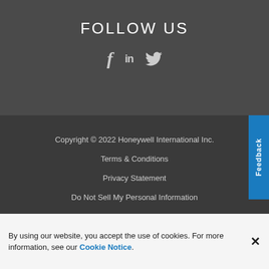FOLLOW US
[Figure (illustration): Social media icons: Facebook (f), LinkedIn (in), Twitter (bird)]
Copyright © 2022 Honeywell International Inc.
Terms & Conditions
Privacy Statement
Do Not Sell My Personal Information
Cookie Notice
Feedback
By using our website, you accept the use of cookies. For more information, see our Cookie Notice.